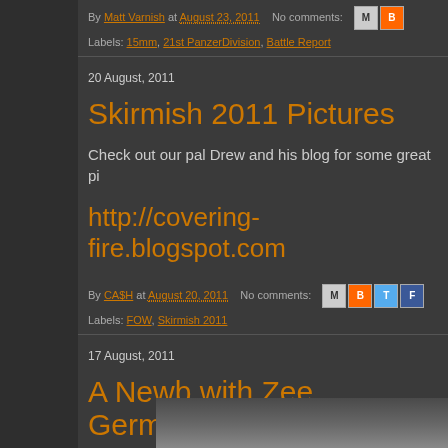By Matt Varnish at August 23, 2011   No comments:
Labels: 15mm, 21st PanzerDivision, Battle Report
20 August, 2011
Skirmish 2011 Pictures
Check out our pal Drew and his blog for some great pi
http://covering-fire.blogspot.com
By CA$H at August 20, 2011   No comments:
Labels: FOW, Skirmish 2011
17 August, 2011
A Newb with Zee Germans!
[Figure (photo): Partial image at bottom of page, appears to be a wargame/miniature photo]